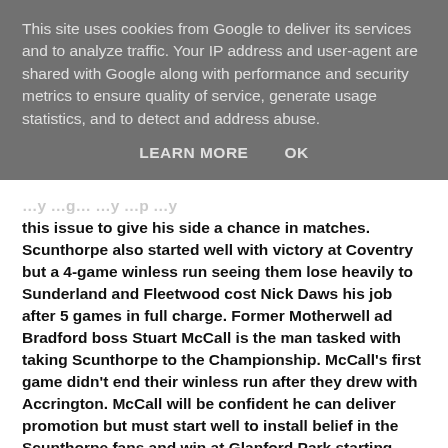This site uses cookies from Google to deliver its services and to analyze traffic. Your IP address and user-agent are shared with Google along with performance and security metrics to ensure quality of service, generate usage statistics, and to detect and address abuse.
LEARN MORE   OK
this issue to give his side a chance in matches. Scunthorpe also started well with victory at Coventry but a 4-game winless run seeing them lose heavily to Sunderland and Fleetwood cost Nick Daws his job after 5 games in full charge. Former Motherwell ad Bradford boss Stuart McCall is the man tasked with taking Scunthorpe to the Championship. McCall's first game didn't end their winless run after they drew with Accrington. McCall will be confident he can deliver promotion but must start well to install belief in the Scunthorpe fans and win at Glanford Park starting against Rochdale because Glanford Park hasn't been its usual fortress self so far this season.